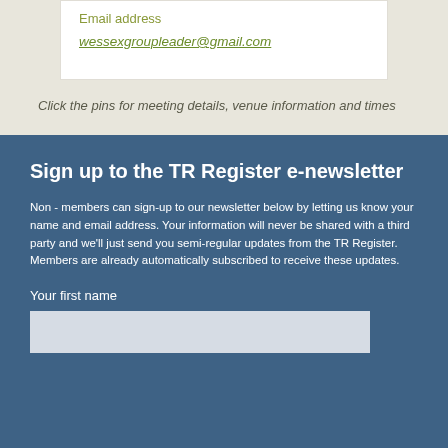Email address
wessexgroupleader@gmail.com
Click the pins for meeting details, venue information and times
Sign up to the TR Register e-newsletter
Non - members can sign-up to our newsletter below by letting us know your name and email address. Your information will never be shared with a third party and we'll just send you semi-regular updates from the TR Register. Members are already automatically subscribed to receive these updates.
Your first name